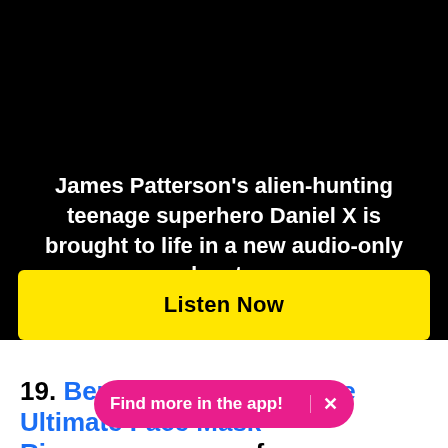[Figure (screenshot): Black background promotional banner for an audio adventure]
James Patterson's alien-hunting teenage superhero Daniel X is brought to life in a new audio-only adventure
Listen Now
19. Beneath Your Face Mask The Ultimate Face Mask Ritual... for Bergdorf G... ...omplete
Find more in the app! ×